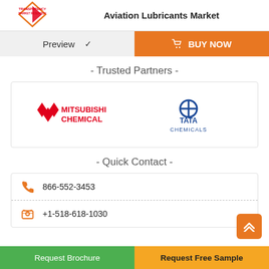[Figure (logo): Transparency Market Research logo with orange/red arrow icon and company name]
Aviation Lubricants Market
Preview  ∨
🛒 BUY NOW
- Trusted Partners -
[Figure (logo): Mitsubishi Chemical logo in red with triangle icon]
[Figure (logo): Tata Chemicals logo in blue with Tata circle icon]
- Quick Contact -
866-552-3453
+1-518-618-1030
Request Brochure
Request Free Sample